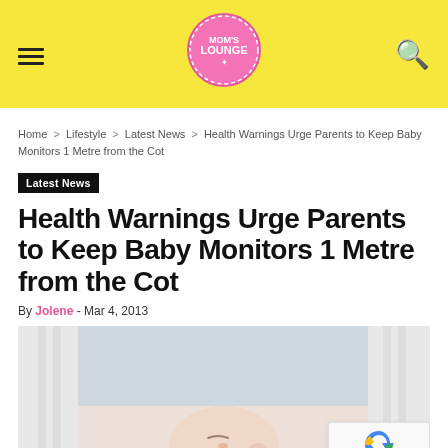Mom's Lounge
Home > Lifestyle > Latest News > Health Warnings Urge Parents to Keep Baby Monitors 1 Metre from the Cot
Latest News
Health Warnings Urge Parents to Keep Baby Monitors 1 Metre from the Cot
By Jolene - Mar 4, 2013
[Figure (photo): Sleeping baby in a cot with white bars visible]